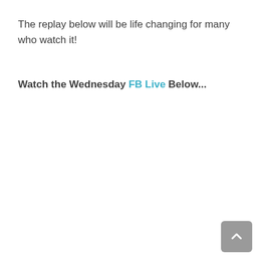The replay below will be life changing for many who watch it!
Watch the Wednesday FB Live Below...